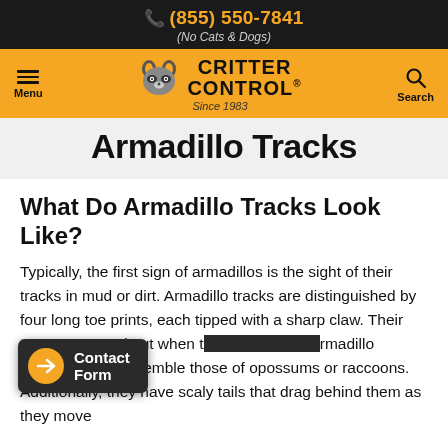(855) 550-7841 (No Cats & Dogs)
[Figure (logo): Critter Control logo with raccoon icon, Since 1983]
Armadillo Tracks
What Do Armadillo Tracks Look Like?
Typically, the first sign of armadillos is the sight of their tracks in mud or dirt. Armadillo tracks are distinguished by four long toe prints, each tipped with a sharp claw. Their toes are spread out when t... rmadillo footprints may resemble those of opossums or raccoons. Additionally, they have scaly tails that drag behind them as they move